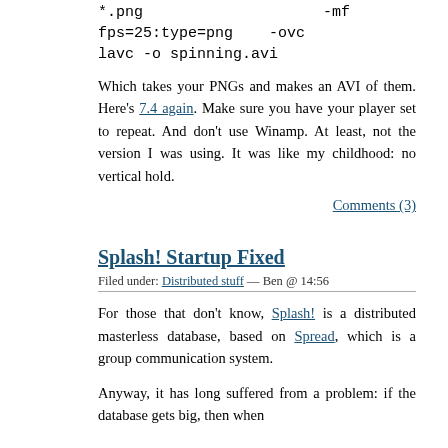*.png                    -mf fps=25:type=png    -ovc lavc -o spinning.avi
Which takes your PNGs and makes an AVI of them. Here's 7.4 again. Make sure you have your player set to repeat. And don't use Winamp. At least, not the version I was using. It was like my childhood: no vertical hold.
Comments (3)
Splash! Startup Fixed
Filed under: Distributed stuff — Ben @ 14:56
For those that don't know, Splash! is a distributed masterless database, based on Spread, which is a group communication system.
Anyway, it has long suffered from a problem: if the database gets big, then when